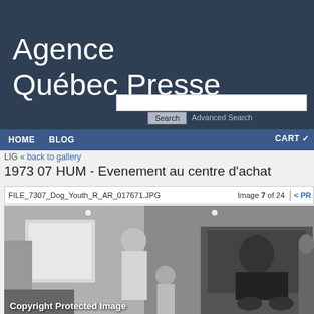Agence Québec Presse
HOME   BLOG   CART
« back to gallery
1973 07 HUM - Evenement au centre d'achat
FILE_7307_Dog_Youth_R_AR_017671.JPG   Image 7 of 24   < PR
[Figure (photo): Black and white photograph showing people in what appears to be a shopping centre. A woman in a white top is visible, a child, and a man in a dark suit seated in a wheelchair. Text overlay reads 'Copyright Protected Image'.]
Copyright Protected Image